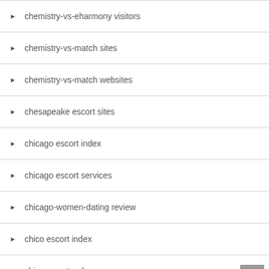chemistry-vs-eharmony visitors
chemistry-vs-match sites
chemistry-vs-match websites
chesapeake escort sites
chicago escort index
chicago escort services
chicago-women-dating review
chico escort index
chico escort radar
chico escort service